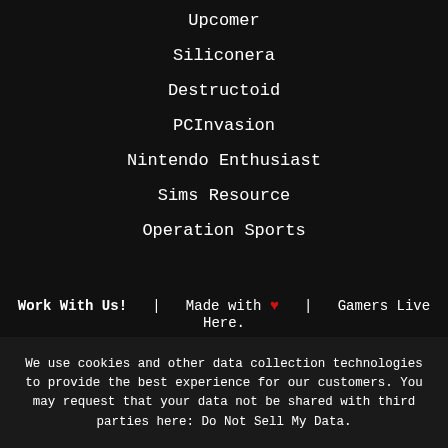Upcomer
Siliconera
Destructoid
PCInvasion
Nintendo Enthusiast
Sims Resource
Operation Sports
Work With Us!   |   Made with ♥   |   Gamers Live Here.
We use cookies and other data collection technologies to provide the best experience for our customers. You may request that your data not be shared with third parties here: Do Not Sell My Data.